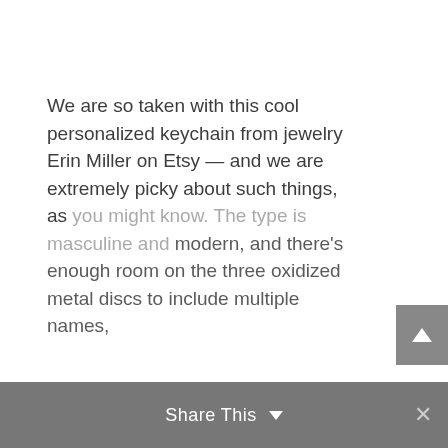We are so taken with this cool personalized keychain from jewelry Erin Miller on Etsy — and we are extremely picky about such things, as you might know. The type is masculine and modern, and there's enough room on the three oxidized metal discs to include multiple names,
Share This ∨  ✕